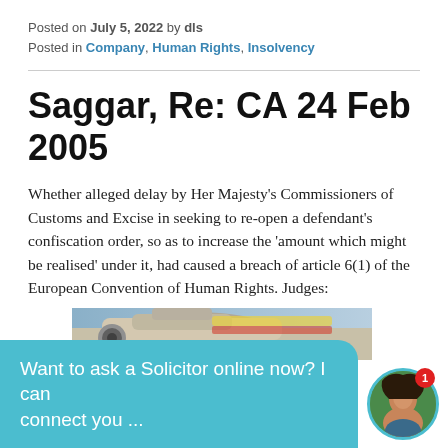Posted on July 5, 2022 by dls
Posted in Company, Human Rights, Insolvency
Saggar, Re: CA 24 Feb 2005
Whether alleged delay by Her Majesty's Commissioners of Customs and Excise in seeking to re-open a defendant's confiscation order, so as to increase the 'amount which might be realised' under it, had caused a breach of article 6(1) of the European Convention of Human Rights. Judges:
[Figure (photo): Partial photo of an aircraft with colorful livery visible]
Want to ask a Solicitor online now? I can connect you ...